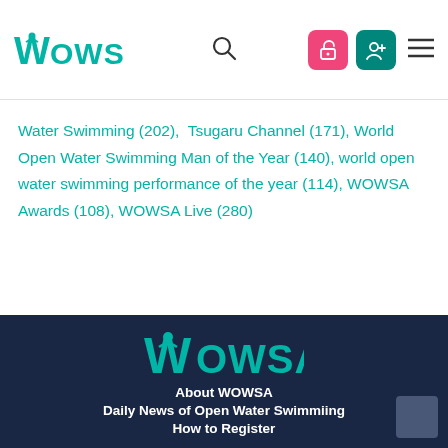WOWSA [logo] [search] [icons] [menu]
Water Swimming (202),  Tsugaru Channel (171), World Open Water Swimming Man of the Year (140), world open water swimming performance of the year (114), WOWSA Awards (108), WOWSA Live (280)
[Figure (logo): WOWSA logo in teal on dark navy footer background]
About WOWSA
Daily News of Open Water Swimmiing
How to Register